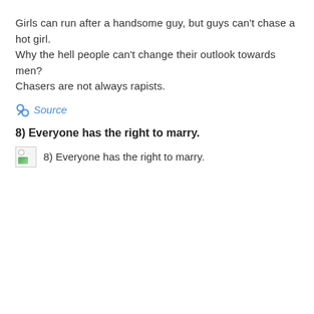Girls can run after a handsome guy, but guys can't chase a hot girl. Why the hell people can't change their outlook towards men? Chasers are not always rapists.
Source
8) Everyone has the right to marry.
[Figure (other): Broken image placeholder with caption: 8) Everyone has the right to marry.]